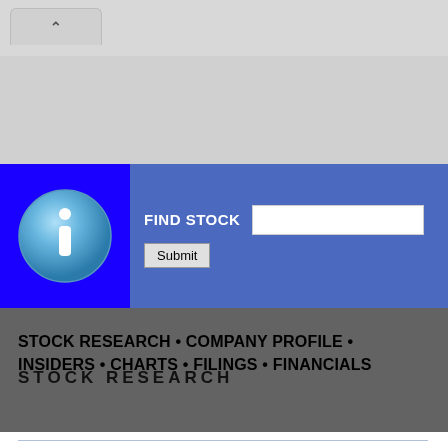[Figure (screenshot): Browser chrome with tab showing up-arrow icon and gray toolbar/address bar area]
[Figure (illustration): Blue banner section with info 'i' icon circle on dark blue left side, and FIND STOCK label with text input and Submit button on blue right side]
STOCK RESEARCH • COMPANY PROFILE • INSIDERS • CHARTS • FILINGS • FINANCIALS
STOCK RESEARCH